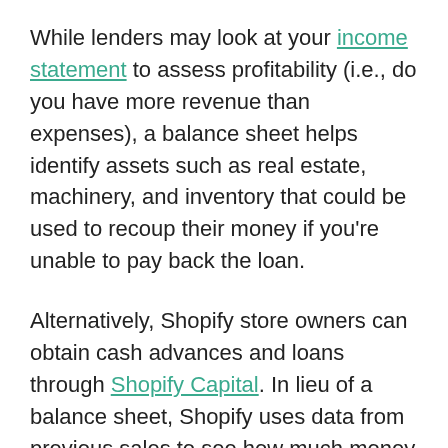While lenders may look at your income statement to assess profitability (i.e., do you have more revenue than expenses), a balance sheet helps identify assets such as real estate, machinery, and inventory that could be used to recoup their money if you're unable to pay back the loan.
Alternatively, Shopify store owners can obtain cash advances and loans through Shopify Capital. In lieu of a balance sheet, Shopify uses data from previous sales to see how much money the merchant is qualified to borrow. Shopify then takes a percentage of the